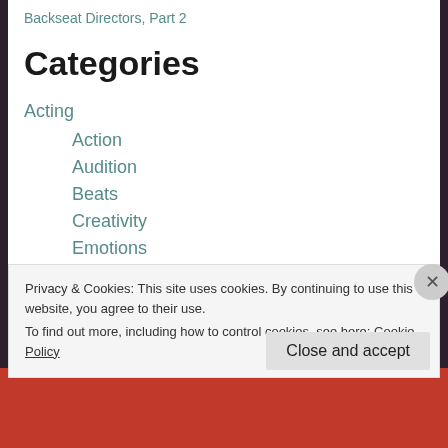Backseat Directors, Part 2
Categories
Acting
Action
Audition
Beats
Creativity
Emotions
Etiquette
Privacy & Cookies: This site uses cookies. By continuing to use this website, you agree to their use.
To find out more, including how to control cookies, see here: Cookie Policy
Close and accept